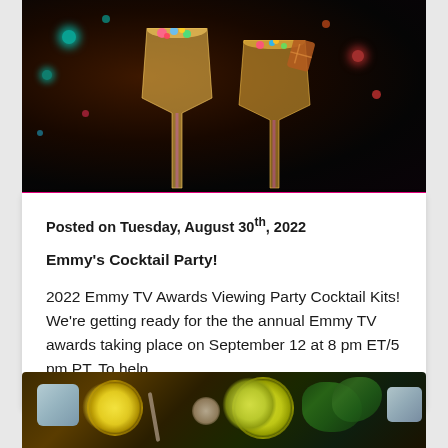[Figure (photo): Two cocktail glasses with colorful garnishes against a dark bokeh background]
Posted on Tuesday, August 30th, 2022
Emmy's Cocktail Party!
2022 Emmy TV Awards Viewing Party Cocktail Kits! We're getting ready for the the annual Emmy TV awards taking place on September 12 at 8 pm ET/5 pm PT. To help...
[Figure (photo): Close-up of lemon/lime slices, ice, and green herbs on a wooden surface for cocktail preparation]